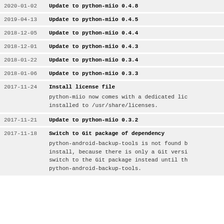2020-01-02  Update to python-miio 0.4.8
2019-04-13  Update to python-miio 0.4.5
2018-12-05  Update to python-miio 0.4.4
2018-12-01  Update to python-miio 0.4.3
2018-01-22  Update to python-miio 0.3.4
2018-01-06  Update to python-miio 0.3.3
2017-11-24  Install license file
python-miio now comes with a dedicated license file that gets installed to /usr/share/licenses.
2017-11-21  Update to python-miio 0.3.2
2017-11-18  Switch to Git package of dependency
python-android-backup-tools is not found by yay/packer and won't install, because there is only a Git version available. So we switch to the Git package instead until there is a proper release of python-android-backup-tools.